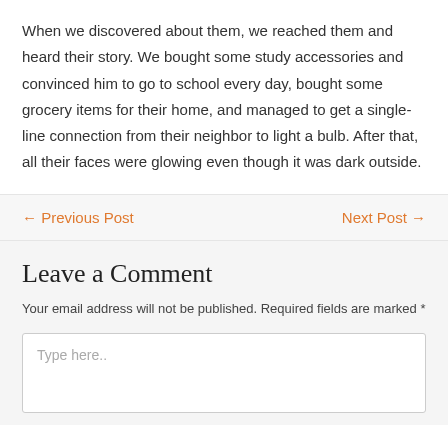When we discovered about them, we reached them and heard their story. We bought some study accessories and convinced him to go to school every day, bought some grocery items for their home, and managed to get a single-line connection from their neighbor to light a bulb. After that, all their faces were glowing even though it was dark outside.
← Previous Post    Next Post →
Leave a Comment
Your email address will not be published. Required fields are marked *
Type here..